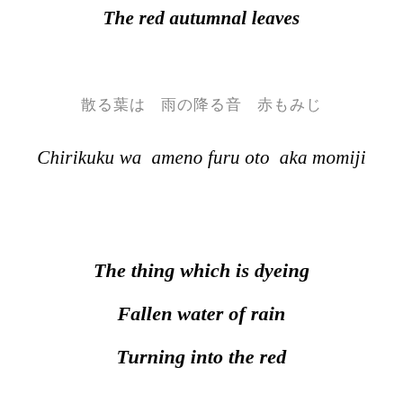The red autumnal leaves
散る葉は　雨の降る音　赤もみじ
Chirikuku wa  ameno furu oto  aka momiji
The thing which is dyeing
Fallen water of rain
Turning into the red